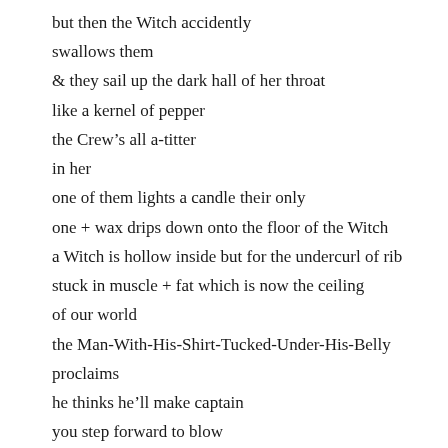but then the Witch accidently
swallows them
& they sail up the dark hall of her throat
like a kernel of pepper
the Crew’s all a-titter
in her
one of them lights a candle their only
one + wax drips down onto the floor of the Witch
a Witch is hollow inside but for the undercurl of rib
stuck in muscle + fat which is now the ceiling
of our world
the Man-With-His-Shirt-Tucked-Under-His-Belly
proclaims
he thinks he’ll make captain
you step forward to blow
out the candle + thereby preserve some